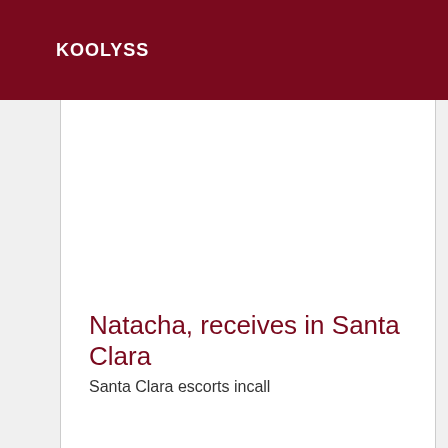KOOLYSS
Natacha, receives in Santa Clara
Santa Clara escorts incall